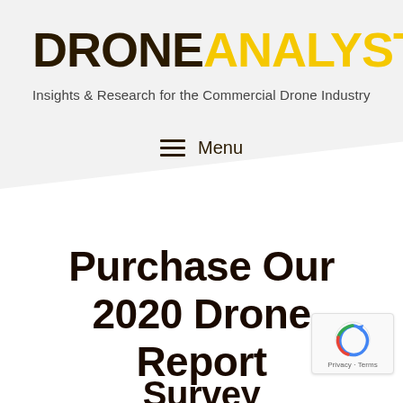[Figure (logo): DroneAnalyst logo with DRONE in dark brown/black bold and ANALYST in yellow/gold bold, with registered trademark symbol]
Insights & Research for the Commercial Drone Industry
Menu
Purchase Our 2020 Drone Report
[Figure (other): Google reCAPTCHA badge with Privacy and Terms links]
2020 Drone Market Survey...